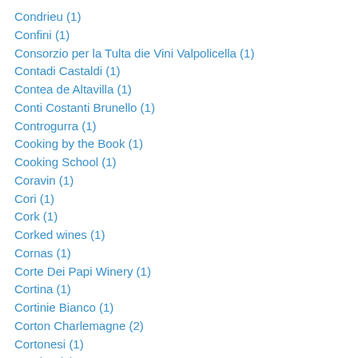Condrieu (1)
Confini (1)
Consorzio per la Tulta die Vini Valpolicella (1)
Contadi Castaldi (1)
Contea de Altavilla (1)
Conti Costanti Brunello (1)
Controgurra (1)
Cooking by the Book (1)
Cooking School (1)
Coravin (1)
Cori (1)
Cork (1)
Corked wines (1)
Cornas (1)
Corte Dei Papi Winery (1)
Cortina (1)
Cortinie Bianco (1)
Corton Charlemagne (2)
Cortonesi (1)
Corvina (1)